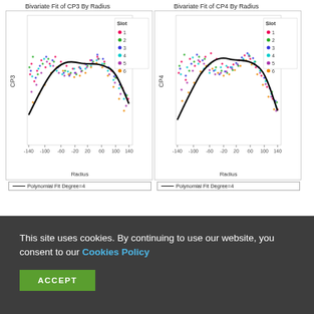[Figure (continuous-plot): Bivariate Fit of CP3 By Radius scatter plot with 6 colored slot series and polynomial fit degree=4 curve. X-axis: Radius (-140 to 140), Y-axis: CP3. Legend shows slots 1-6 in different colors.]
[Figure (continuous-plot): Bivariate Fit of CP4 By Radius scatter plot with 6 colored slot series and polynomial fit degree=4 curve. X-axis: Radius (-140 to 140), Y-axis: CP4. Legend shows slots 1-6 in different colors.]
Figure 13: Critical profile (CP) parameter measurements as a function of wafer radius for six wafers.
5. Summary and conclusions
This site uses cookies. By continuing to use our website, you consent to our Cookies Policy
ACCEPT